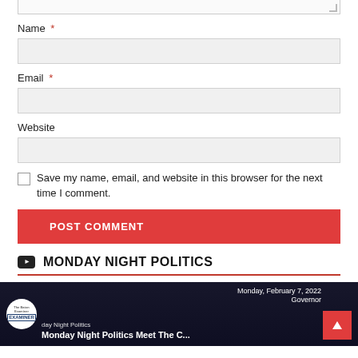Name *
Email *
Website
Save my name, email, and website in this browser for the next time I comment.
POST COMMENT
MONDAY NIGHT POLITICS
[Figure (screenshot): Video thumbnail for Monday Night Politics Meet The C... with Examiner logo, date Monday February 7 2022, Governor label, dark background]